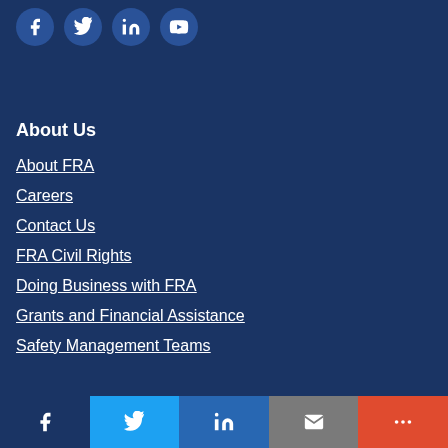[Figure (other): Social media icons row: Facebook, Twitter, LinkedIn, YouTube — circular blue buttons at top of page]
About Us
About FRA
Careers
Contact Us
FRA Civil Rights
Doing Business with FRA
Grants and Financial Assistance
Safety Management Teams
Social share bar: Facebook, Twitter, LinkedIn, Email, More